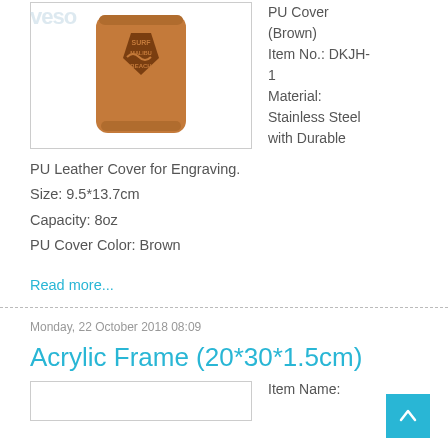[Figure (photo): Product photo of a brown PU leather covered stainless steel cup/tumbler engraved with a surf Malibu Beach design]
PU Cover (Brown)
Item No.: DKJH-1
Material: Stainless Steel with Durable
PU Leather Cover for Engraving.
Size: 9.5*13.7cm
Capacity: 8oz
PU Cover Color: Brown
Read more...
Monday, 22 October 2018 08:09
Acrylic Frame (20*30*1.5cm)
[Figure (photo): Product image box for Acrylic Frame item (partially visible)]
Item Name: